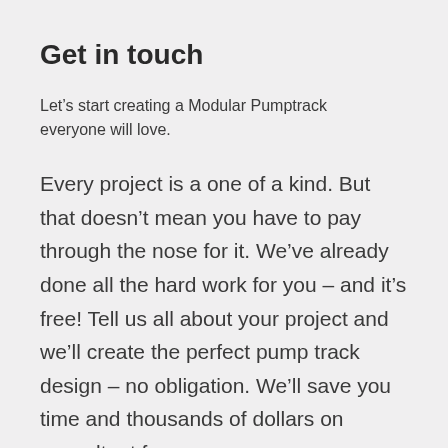Get in touch
Let’s start creating a Modular Pumptrack everyone will love.
Every project is a one of a kind. But that doesn’t mean you have to pay through the nose for it. We’ve already done all the hard work for you – and it’s free! Tell us all about your project and we’ll create the perfect pump track design – no obligation. We’ll save you time and thousands of dollars on consultant fees.